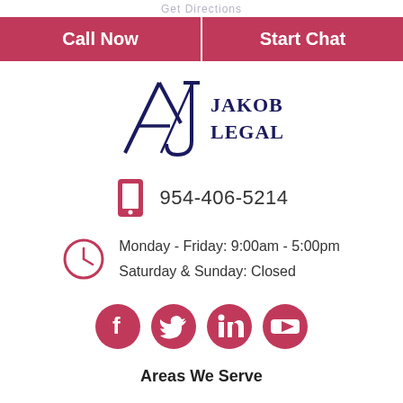Get Directions
Call Now   Start Chat
[Figure (logo): Jakob Legal law firm logo with stylized AJ monogram and text 'Jakob Legal']
954-406-5214
Monday - Friday: 9:00am - 5:00pm
Saturday & Sunday: Closed
[Figure (other): Social media icons: Facebook, Twitter, LinkedIn, YouTube in dark pink/red color]
Areas We Serve